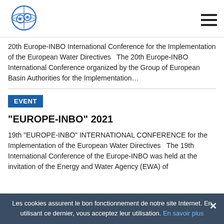[Figure (logo): INBO globe-style circular logo in blue]
20th Europe-INBO International Conference for the Implementation of the European Water Directives   The 20th Europe-INBO International Conference organized by the Group of European Basin Authorities for the Implementation...
EVENT
"EUROPE-INBO" 2021
19th “EUROPE-INBO” INTERNATIONAL CONFERENCE for the Implementation of the European Water Directives   The 19th International Conference of the Europe-INBO was held at the invitation of the Energy and Water Agency (EWA) of
Les cookies assurent le bon fonctionnement de notre site Internet. En utilisant ce dernier, vous acceptez leur utilisation. En savoir plus